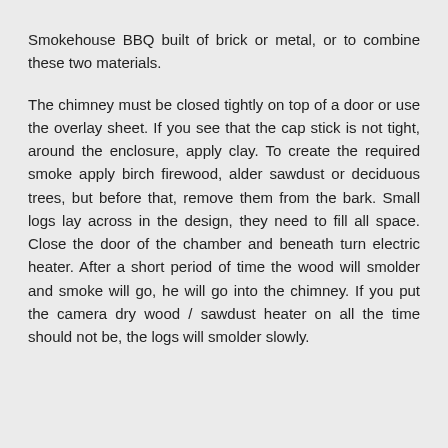Smokehouse BBQ built of brick or metal, or to combine these two materials.
The chimney must be closed tightly on top of a door or use the overlay sheet. If you see that the cap stick is not tight, around the enclosure, apply clay. To create the required smoke apply birch firewood, alder sawdust or deciduous trees, but before that, remove them from the bark. Small logs lay across in the design, they need to fill all space. Close the door of the chamber and beneath turn electric heater. After a short period of time the wood will smolder and smoke will go, he will go into the chimney. If you put the camera dry wood / sawdust heater on all the time should not be, the logs will smolder slowly.